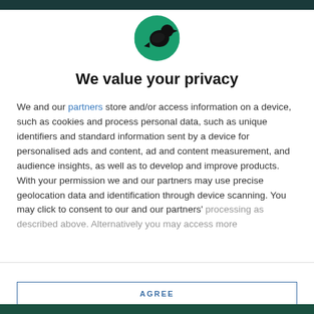[Figure (logo): Circular green logo with a black silhouette of a crow or raven facing right]
We value your privacy
We and our partners store and/or access information on a device, such as cookies and process personal data, such as unique identifiers and standard information sent by a device for personalised ads and content, ad and content measurement, and audience insights, as well as to develop and improve products. With your permission we and our partners may use precise geolocation data and identification through device scanning. You may click to consent to our and our partners' processing as described above. Alternatively you may access more
AGREE
MORE OPTIONS